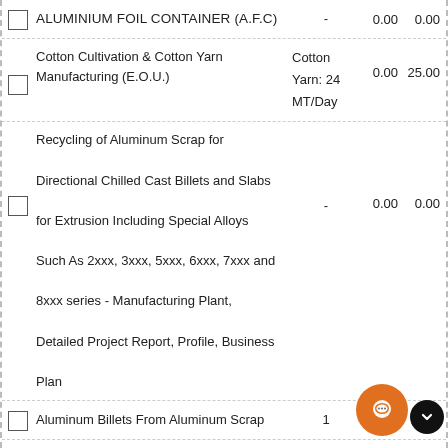|  | Product/Project Name | Capacity | Col1 | Col2 |
| --- | --- | --- | --- | --- |
| ☐ | ALUMINIUM FOIL CONTAINER (A.F.C) | - | 0.00 | 0.00 |
| ☐ | Cotton Cultivation & Cotton Yarn Manufacturing (E.O.U.) | Cotton Yarn: 24 MT/Day | 0.00 | 25.00 |
| ☐ | Recycling of Aluminum Scrap for Directional Chilled Cast Billets and Slabs for Extrusion Including Special Alloys Such As 2xxx, 3xxx, 5xxx, 6xxx, 7xxx and 8xxx series - Manufacturing Plant, Detailed Project Report, Profile, Business Plan | - | 0.00 | 0.00 |
| ☐ | Aluminum Billets From Aluminum Scrap | 1 | 1.00 |  |
| ☐ | Aluminium Wire Rod | - | 0.0 |  |